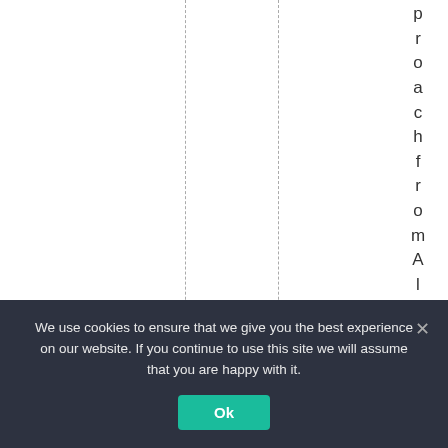proachfromAlintala
We use cookies to ensure that we give you the best experience on our website. If you continue to use this site we will assume that you are happy with it.